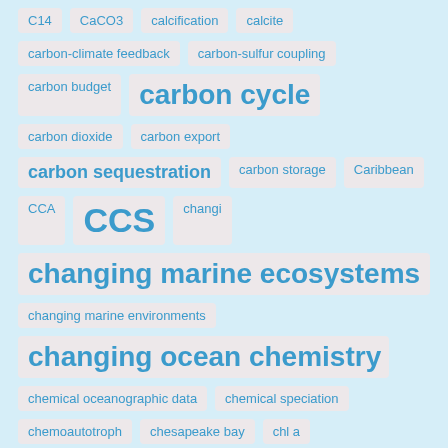[Figure (infographic): Tag cloud of scientific/oceanographic keywords displayed as styled pill-shaped labels with varying font sizes indicating frequency/importance. Keywords include: C14, CaCO3, calcification, calcite, carbon-climate feedback, carbon-sulfur coupling, carbon budget, carbon cycle, carbon dioxide, carbon export, carbon sequestration, carbon storage, Caribbean, CCA, CCS, changi, changing marine ecosystems, changing marine environments, changing ocean chemistry, chemical oceanographic data, chemical speciation, chemoautotroph, chesapeake bay, chl a, chlorophyll, circulation]